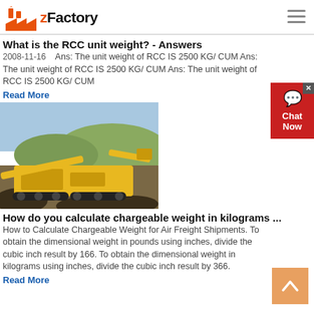zFactory
What is the RCC unit weight? - Answers
2008-11-16    Ans: The unit weight of RCC IS 2500 KG/ CUM Ans: The unit weight of RCC IS 2500 KG/ CUM Ans: The unit weight of RCC IS 2500 KG/ CUM
Read More
[Figure (photo): Yellow mining/crushing machinery on a construction site with hills in background]
How do you calculate chargeable weight in kilograms ...
How to Calculate Chargeable Weight for Air Freight Shipments. To obtain the dimensional weight in pounds using inches, divide the cubic inch result by 166. To obtain the dimensional weight in kilograms using inches, divide the cubic inch result by 366.
Read More